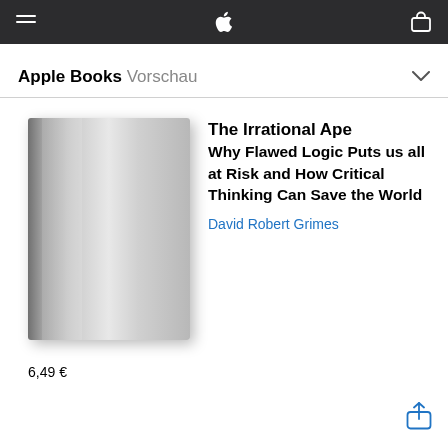Apple Books Vorschau
[Figure (illustration): Book cover — plain grey gradient cover for 'The Irrational Ape']
The Irrational Ape Why Flawed Logic Puts us all at Risk and How Critical Thinking Can Save the World
David Robert Grimes
6,49 €